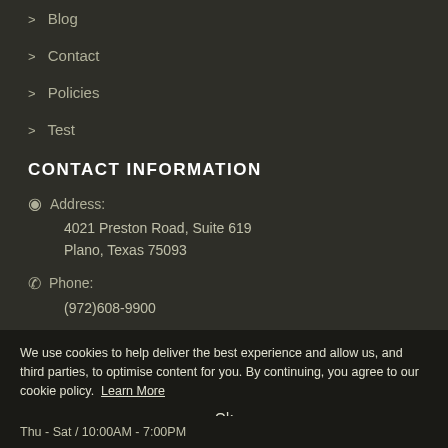> Blog
> Contact
> Policies
> Test
CONTACT INFORMATION
Address: 4021 Preston Road, Suite 619 Plano, Texas 75093
Phone: (972)608-9900
We use cookies to help deliver the best experience and allow us, and third parties, to optimise content for you. By continuing, you agree to our cookie policy. Learn More
Ok
Thu - Sat / 10:00AM - 7:00PM